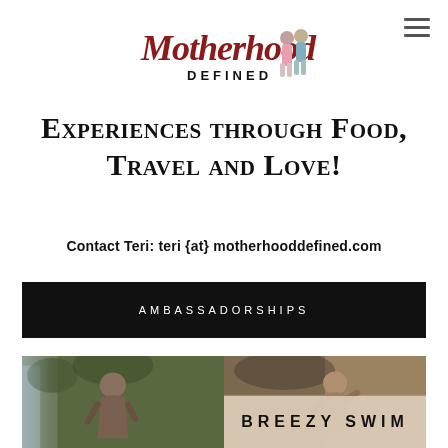[Figure (logo): Motherhood Defined logo — stylized script 'Motherhood' in dark red/brown with 'DEFINED' in black below, accompanied by illustrated figures of women in colorful outfits]
Experiences through Food, Travel and Love!
Contact Teri: teri {at} motherhooddefined.com
AMBASSADORSHIPS
[Figure (photo): Two women in swimwear in outdoor nature settings — left photo shows a woman in a strappy bikini near a waterfall with lush greenery; right photo shows a woman at a beach/outdoor location. A beige overlay banner at the bottom reads 'BREEZY SWIM']